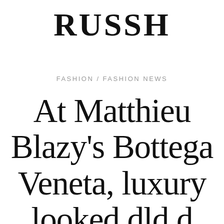RUSSH
FASHION / FASHION NEWS
At Matthieu Blazy's Bottega Veneta, luxury [continues]